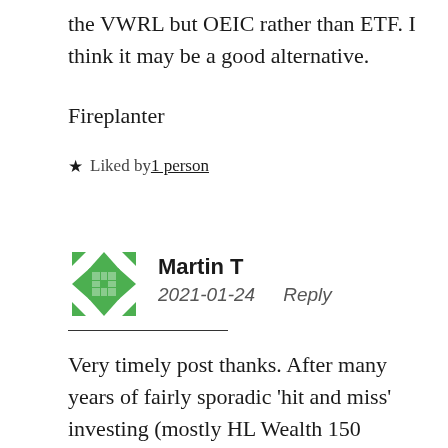the VWRL but OEIC rather than ETF. I think it may be a good alternative.
Fireplanter
★ Liked by 1 person
Martin T
2021-01-24    Reply
Very timely post thanks. After many years of fairly sporadic 'hit and miss' investing (mostly HL Wealth 150 recommendations) I started reading and researching via Monevator, Citywire, Morningstar, Tim Hale etc. and a few years I...